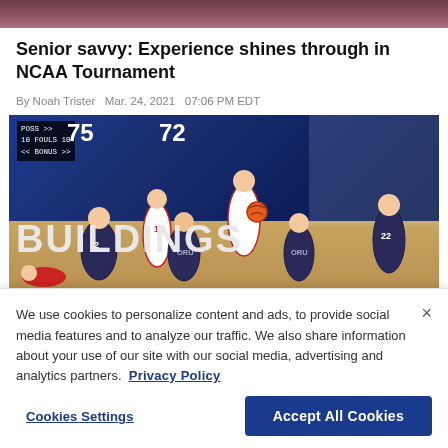[Figure (photo): Top partial image of basketball players, cropped strip at top of page]
Senior savvy: Experience shines through in NCAA Tournament
By Noah Trister  Mar. 24, 2021  07:06 PM EDT
[Figure (photo): NCAA Tournament basketball game photo showing players from ORU and another team on court with scoreboard showing 75 and 72]
We use cookies to personalize content and ads, to provide social media features and to analyze our traffic. We also share information about your use of our site with our social media, advertising and analytics partners.  Privacy Policy
Cookies Settings    Accept All Cookies
Analysis: More madness a Tournament's S...